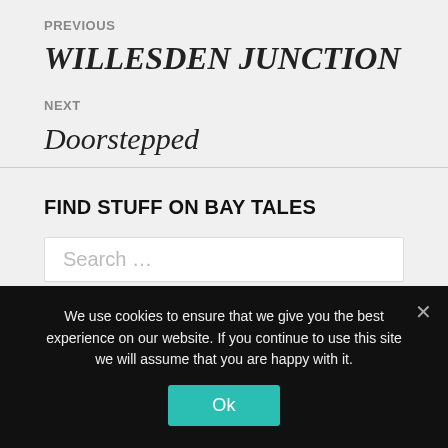PREVIOUS
WILLESDEN JUNCTION
NEXT
Doorstepped
FIND STUFF ON BAY TALES
Search …
We use cookies to ensure that we give you the best experience on our website. If you continue to use this site we will assume that you are happy with it.
Ok